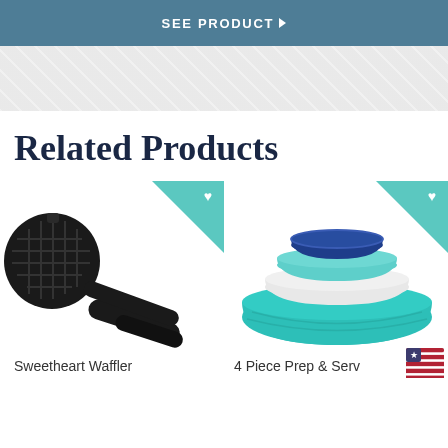SEE PRODUCT ▶
[Figure (other): Watermark / decorative background pattern area]
Related Products
[Figure (photo): Sweetheart Waffler - black cast iron heart-shaped waffle maker with handle]
[Figure (photo): 4 Piece Prep & Serve - stacked set of mixing/serving bowls in teal, white, and blue]
Sweetheart Waffler
4 Piece Prep & Serv…